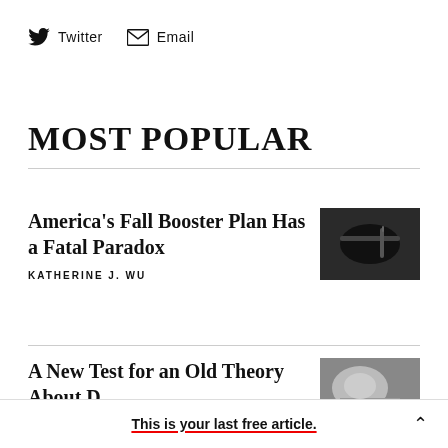Twitter  Email
MOST POPULAR
America's Fall Booster Plan Has a Fatal Paradox
KATHERINE J. WU
[Figure (photo): Black and white photo of hands administering a vaccine injection]
A New Test for an Old Theory About D…
[Figure (photo): Black and white photo of a sleeping person]
This is your last free article.